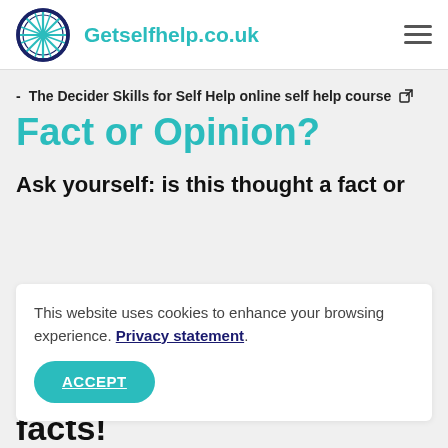Getselfhelp.co.uk
The Decider Skills for Self Help online self help course [external link]
Fact or Opinion?
Ask yourself: is this thought a fact or
This website uses cookies to enhance your browsing experience. Privacy statement.
ACCEPT
facts!